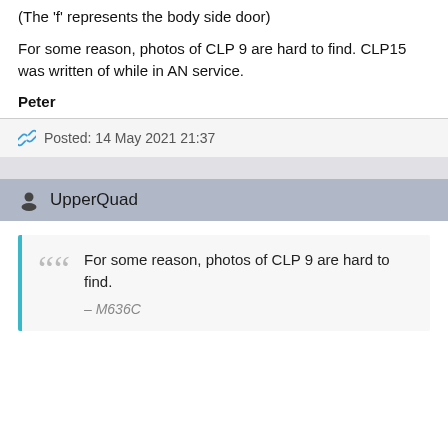(The 'f' represents the body side door)
For some reason, photos of CLP 9 are hard to find. CLP15 was written of while in AN service.
Peter
Posted: 14 May 2021 21:37
UpperQuad
For some reason, photos of CLP 9 are hard to find.
— M636C